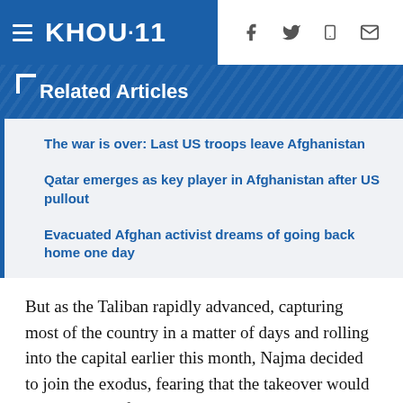KHOU·11
Related Articles
The war is over: Last US troops leave Afghanistan
Qatar emerges as key player in Afghanistan after US pullout
Evacuated Afghan activist dreams of going back home one day
But as the Taliban rapidly advanced, capturing most of the country in a matter of days and rolling into the capital earlier this month, Najma decided to join the exodus, fearing that the takeover would spell the end of a career that was only just beginning. She compiled the threatening text messages and brought them to the airport, hoping they would help her convince the Americans to put her on a